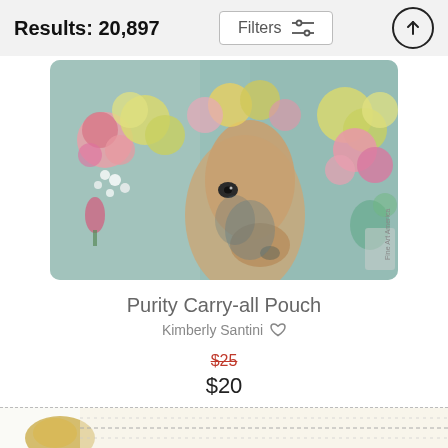Results: 20,897
[Figure (photo): Product listing photo of a carry-all pouch featuring a painting of a horse head surrounded by colorful roses and flowers in pink, yellow, white, and teal on a light blue-green background.]
Purity Carry-all Pouch
Kimberly Santini
$25 (strikethrough) $20
[Figure (photo): Partial image of another product visible at the bottom of the page, showing a gold/yellow decorative item against a dotted or patterned background.]